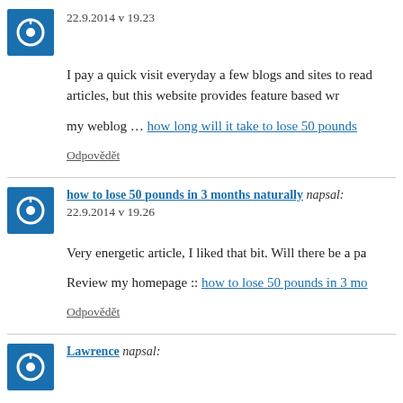22.9.2014 v 19.23
I pay a quick visit everyday a few blogs and sites to read articles, but this website provides feature based wr…
my weblog … how long will it take to lose 50 pounds
Odpovědět
how to lose 50 pounds in 3 months naturally napsal:
22.9.2014 v 19.26
Very energetic article, I liked that bit. Will there be a pa…
Review my homepage :: how to lose 50 pounds in 3 mo…
Odpovědět
Lawrence napsal: